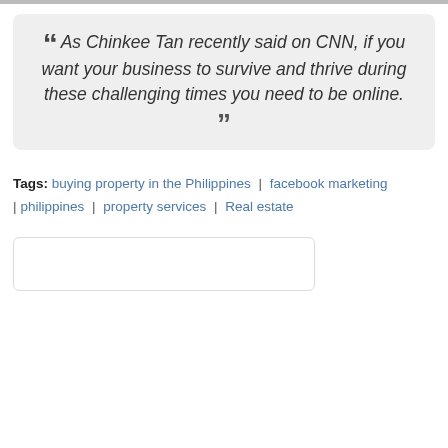[Figure (photo): Partial image strip at top of page]
“ As Chinkee Tan recently said on CNN, if you want your business to survive and thrive during these challenging times you need to be online. ”
Tags: buying property in the Philippines | facebook marketing | philippines | property services | Real estate
[Figure (screenshot): Partial card/widget at bottom of page]